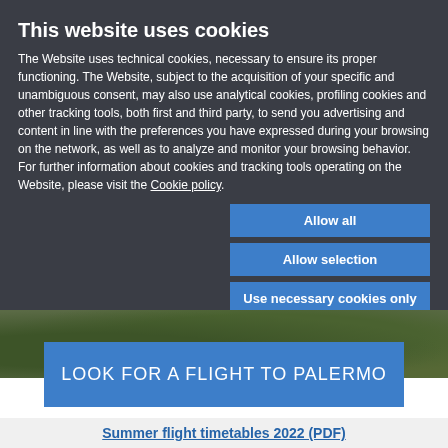This website uses cookies
The Website uses technical cookies, necessary to ensure its proper functioning. The Website, subject to the acquisition of your specific and unambiguous consent, may also use analytical cookies, profiling cookies and other tracking tools, both first and third party, to send you advertising and content in line with the preferences you have expressed during your browsing on the network, as well as to analyze and monitor your browsing behavior. For further information about cookies and tracking tools operating on the Website, please visit the Cookie policy.
Allow all
Allow selection
Use necessary cookies only
Necessary
Preferences
Statistics
Marketing
Show details
[Figure (photo): Aerial view of a green suburban/residential area with trees and roads]
LOOK FOR A FLIGHT TO PALERMO
Summer flight timetables 2022 (PDF)